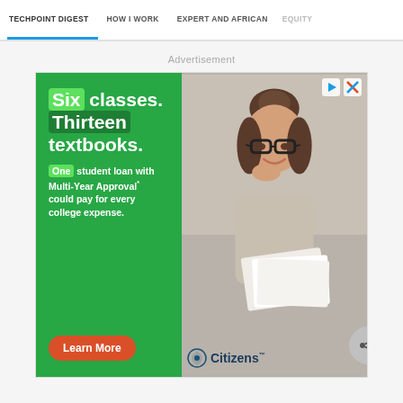TECHPOINT DIGEST  HOW I WORK  EXPERT AND AFRICAN  EQUITY
Advertisement
[Figure (illustration): Citizens Bank advertisement: Green left panel with text 'Six classes. Thirteen textbooks. One student loan with Multi-Year Approval* could pay for every college expense.' and a red 'Learn More' button. Right panel shows a smiling young woman with glasses reading papers, Citizens Bank logo at bottom right.]